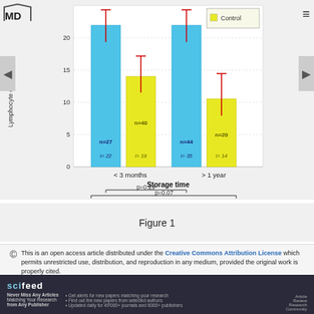[Figure (grouped-bar-chart): ]
Figure 1
This is an open access article distributed under the Creative Commons Attribution License which permits unrestricted use, distribution, and reproduction in any medium, provided the original work is properly cited.
scifeed — Never Miss Any Articles Matching Your Research from Any Publisher